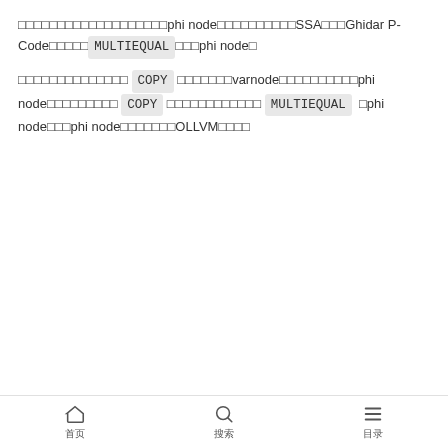在分析过程中发现了phi node的多种形式，SSA格式Ghidar P-Code中对应MULTIEQUAL来表示phi node。
在对汇编代码进行分析时，COPY 指令将varnode进行复制，phi node在表示 COPY 的情况下对应的是 MULTIEQUAL （phi node即phi node），通常用在OLLVM中的控制流。
[Figure (screenshot): Code block showing Python/Ghidra script lines 1-5 for finding COPY const pcode, using pcode_iterator with while loop and logging.debug call.]
首页  搜索  目录